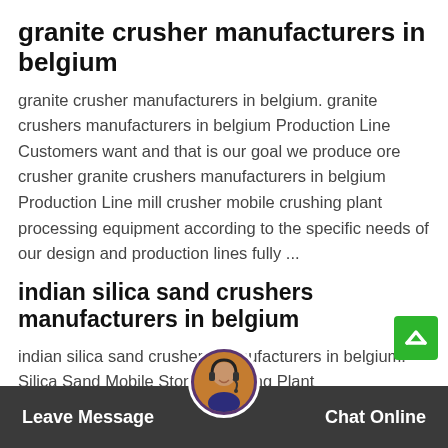granite crusher manufacturers in belgium
granite crusher manufacturers in belgium. granite crushers manufacturers in belgium Production Line Customers want and that is our goal we produce ore crusher granite crushers manufacturers in belgium Production Line mill crusher mobile crushing plant processing equipment according to the specific needs of our design and production lines fully ...
indian silica sand crushers manufacturers in belgium
indian silica sand crushers manufacturers in belgium. Silica Sand Mobile Stone Crushing Plant Exporters,Silica sand Mobile Rock Jaw Crusher in Ireland so it can sa large construction capito locationa is a famous mo obile s and p crusher machineincluding mobile crusherse tors obi
Leave Message   Chat Online